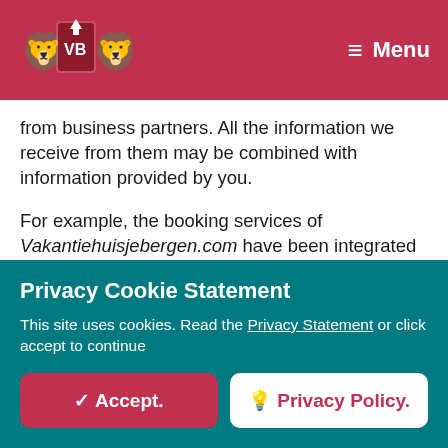VB logo | Menu
from business partners. All the information we receive from them may be combined with information provided by you.
For example, the booking services of Vakantiehuisjebergen.com have been integrated with services of business partners you can find online. When you use those, you provide your booking details to our business partner who
Privacy Cookie Statement
This site uses cookies. Read the Privacy Statement or click accept to continue
✓ Accept.
Privacy Policy.